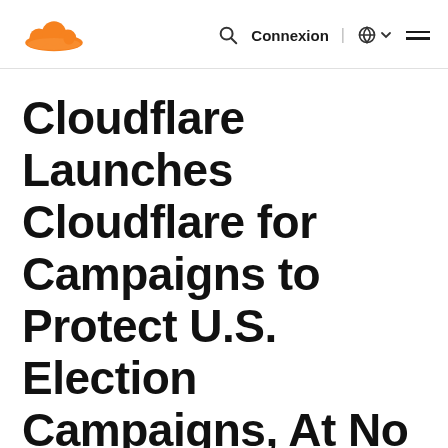Cloudflare logo | Search | Connexion | Globe | Menu
Cloudflare Launches Cloudflare for Campaigns to Protect U.S. Election Campaigns, At No Cost
Services protect campaign websites and